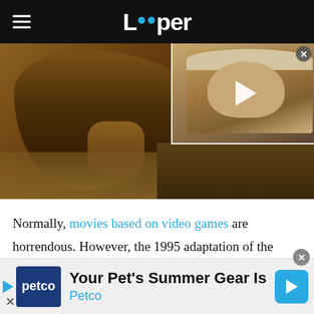Looper
[Figure (screenshot): Main media area showing a Mortal Kombat movie scene with muscular fighter figure on the left, and a video thumbnail overlay on the right showing a man in a cowboy hat with a play button]
Normally, movies based on video games are horrendous. However, the 1995 adaptation of the popular arcade game Mortal Kombat is a rare exception.
[Figure (infographic): Petco advertisement banner: 'Your Pet's Summer Gear Is Here' with Petco logo and navigation arrow icon]